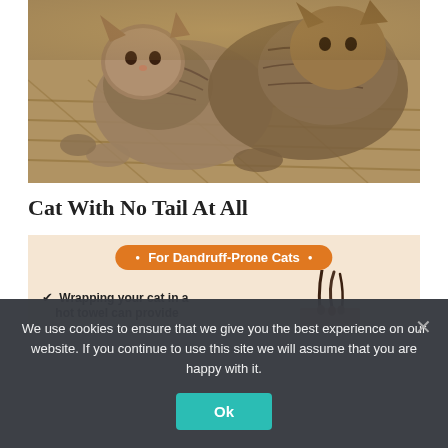[Figure (photo): Two tabby cats curled together on a woven mat or bamboo surface, photographed from above]
Cat With No Tail At All
[Figure (infographic): Infographic for dandruff-prone cats on a light peach background. Orange pill-shaped header reads 'For Dandruff-Prone Cats' with bullet points. Text below: checkmark followed by 'Wrapping your cat in a hot towel can provide' (text cut off). Illustration of hair follicles on the right side.]
We use cookies to ensure that we give you the best experience on our website. If you continue to use this site we will assume that you are happy with it.